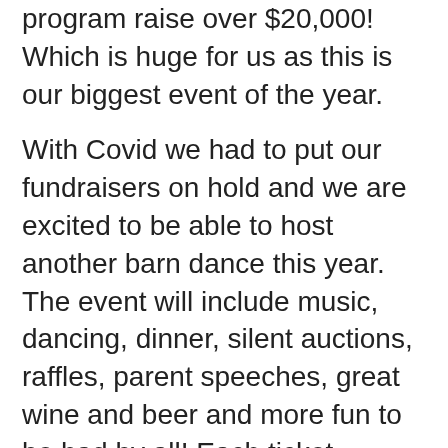program raise over $20,000! Which is huge for us as this is our biggest event of the year.
With Covid we had to put our fundraisers on hold and we are excited to be able to host another barn dance this year. The event will include music, dancing, dinner, silent auctions, raffles, parent speeches, great wine and beer and more fun to be had by all! Each ticket includes dinner, dancing and one drink. This is an event you wont want to miss, we look forward to seeing you all there! (this event is 21 and up, dress is casual/western wear) Please contact us further for any information allie@radtrc.org